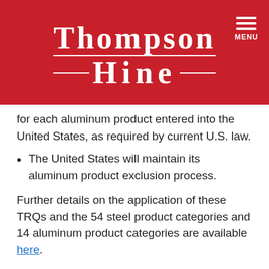[Figure (logo): Thompson Hine law firm logo in white text on red background, with hamburger menu icon and MENU label on the right]
for each aluminum product entered into the United States, as required by current U.S. law.
The United States will maintain its aluminum product exclusion process.
Further details on the application of these TRQs and the 54 steel product categories and 14 aluminum product categories are available here.
The agreement also requires that any UK steel company owned by a Chinese entity must undertake an audit of its financial records to assess influence from the Chinese government. The results of such audits must be shared with the United States